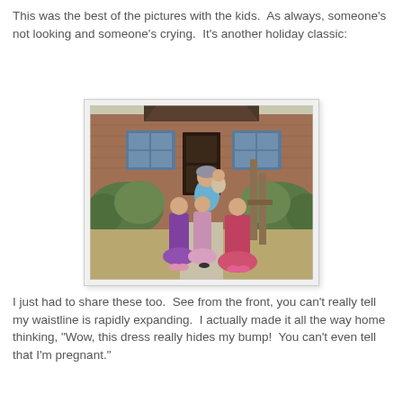This was the best of the pictures with the kids.  As always, someone's not looking and someone's crying.  It's another holiday classic:
[Figure (photo): A woman holding a baby stands in front of a brick house with bushes. Three young girls in dresses are in front of her — one in purple, one in pink/floral, one in red/pink. The photo is taken outdoors on a sunny day on a concrete walkway.]
I just had to share these too.  See from the front, you can't really tell my waistline is rapidly expanding.  I actually made it all the way home thinking, "Wow, this dress really hides my bump!  You can't even tell that I'm pregnant."